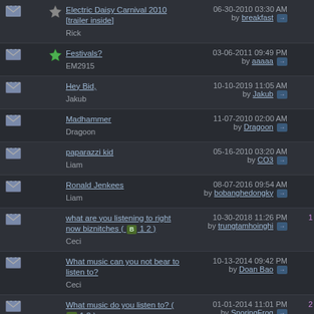| icon | star | topic | date/by | replies |
| --- | --- | --- | --- | --- |
| envelope | star(black) | Electric Daisy Carnival 2010 [trailer inside]
Rick | 06-30-2010 03:30 AM
by breakfast |  |
| envelope | star(green) | Festivals?
EM2915 | 03-06-2011 09:49 PM
by aaaaa |  |
| envelope |  | Hey Bid,
Jakub | 10-10-2019 11:05 AM
by Jakub |  |
| envelope |  | Madhammer
Dragoon | 11-07-2010 02:00 AM
by Dragoon |  |
| envelope |  | paparazzi kid
Liam | 05-16-2010 03:20 AM
by CO3 |  |
| envelope |  | Ronald Jenkees
Liam | 08-07-2016 09:54 AM
by bobanghedongky |  |
| envelope |  | what are you listening to right now biznitches ( B 1 2 )
Ceci | 10-30-2018 11:26 PM
by trungtamhoinghi | 1 |
| envelope |  | What music can you not bear to listen to?
Ceci | 10-13-2014 09:42 PM
by Doan Bao |  |
| envelope |  | What music do you listen to? ( B 1 2 )
CO3 | 01-01-2014 11:01 PM
by SnoringFrog | 2 |
| envelope |  | Who here is a musician?
CO3 | 04-13-2018 04:33 AM
by lhthe |  |